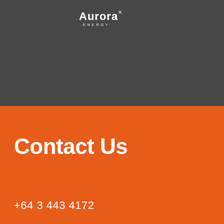[Figure (logo): Aurora Energy logo with wordmark 'Aurora' in bold white text and 'ENERGY' in small white spaced caps beneath, on dark grey background]
Contact Us
+64 3 443 4172